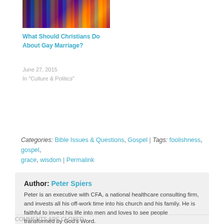[Figure (photo): Dark image of a building lit with colorful rainbow lights]
What Should Christians Do About Gay Marriage?
June 27, 2015
In "Culture & Politics"
Categories: Bible Issues & Questions, Gospel | Tags: foolishness, gospel, grace, wisdom | Permalink
Author: Peter Spiers
Peter is an executive with CFA, a national healthcare consulting firm, and invests all his off-work time into his church and his family. He is faithful to invest his life into men and loves to see people transformed by God’s Word.